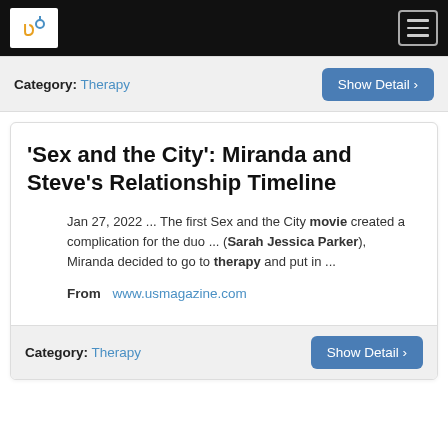Navigation bar with logo and hamburger menu
Category: Therapy   Show Detail >
'Sex and the City': Miranda and Steve's Relationship Timeline
Jan 27, 2022 ... The first Sex and the City movie created a complication for the duo ... (Sarah Jessica Parker), Miranda decided to go to therapy and put in ...
From   www.usmagazine.com
Category: Therapy   Show Detail >